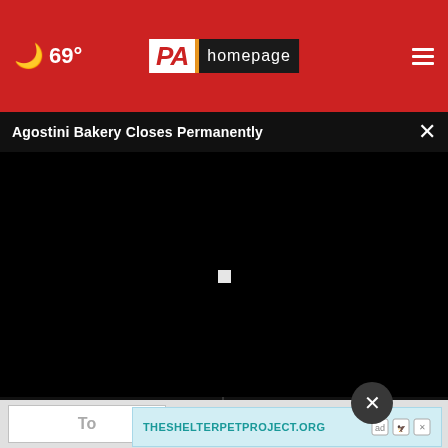69° PA homepage
Agostini Bakery Closes Permanently
[Figure (screenshot): Black video player area with a small white loading spinner in the center]
[Figure (screenshot): Thumbnail strip showing two dark video thumbnails with text overlays]
To
[Figure (other): Ad banner: THESHELTERPETPROJECT.ORG with ad choice icons]